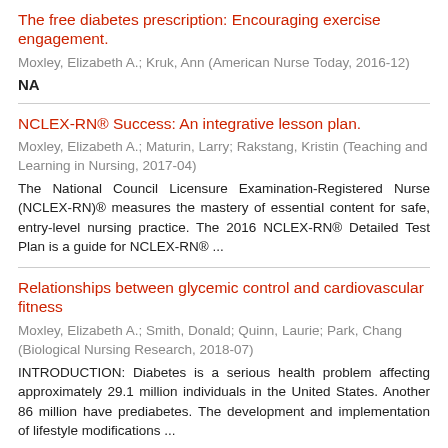The free diabetes prescription: Encouraging exercise engagement.
Moxley, Elizabeth A.; Kruk, Ann (American Nurse Today, 2016-12)
NA
NCLEX-RN® Success: An integrative lesson plan.
Moxley, Elizabeth A.; Maturin, Larry; Rakstang, Kristin (Teaching and Learning in Nursing, 2017-04)
The National Council Licensure Examination-Registered Nurse (NCLEX-RN)® measures the mastery of essential content for safe, entry-level nursing practice. The 2016 NCLEX-RN® Detailed Test Plan is a guide for NCLEX-RN® ...
Relationships between glycemic control and cardiovascular fitness
Moxley, Elizabeth A.; Smith, Donald; Quinn, Laurie; Park, Chang (Biological Nursing Research, 2018-07)
INTRODUCTION: Diabetes is a serious health problem affecting approximately 29.1 million individuals in the United States. Another 86 million have prediabetes. The development and implementation of lifestyle modifications ...